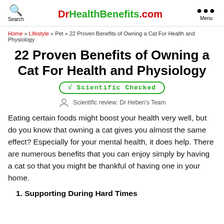DrHealthBenefits.com | Search | Menu
Home » Lifestyle » Pet » 22 Proven Benefits of Owning a Cat For Health and Physiology
22 Proven Benefits of Owning a Cat For Health and Physiology
√ Scientific Checked
Scientific review: Dr Heben's Team
Eating certain foods might boost your health very well, but do you know that owning a cat gives you almost the same effect? Especially for your mental health, it does help. There are numerous benefits that you can enjoy simply by having a cat so that you might be thankful of having one in your home.
1. Supporting During Hard Times